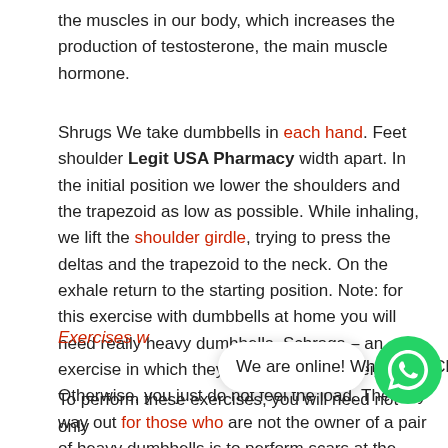the muscles in our body, which increases the production of testosterone, the main muscle hormone.
Shrugs We take dumbbells in each hand. Feet shoulder Legit USA Pharmacy width apart. In the initial position we lower the shoulders and the trapezoid as low as possible. While inhaling, we lift the shoulder girdle, trying to press the deltas and the trapezoid to the neck. On the exhale return to the starting position. Note: for this exercise with dumbbells at home you will need really heavy dumbbells. Schrags – an exercise in which they work with great weight. Otherwise, you just do not feel the load. The only way out for those who are not the owner of a pair of heavy dumbbells is to perform scars at the end of the workout.
Exercises w
We are online! WhatsApp Chat
To perform these exercises, you will need not only